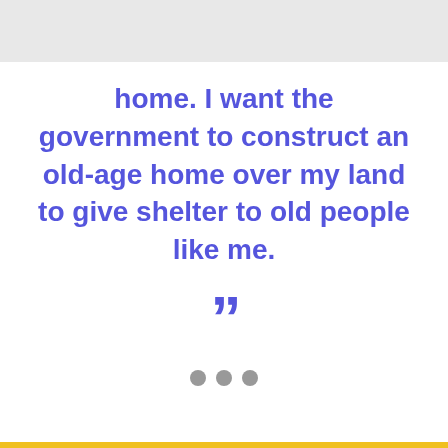home. I want the government to construct an old-age home over my land to give shelter to old people like me.
[Figure (illustration): Closing double quotation mark in blue/purple color]
[Figure (other): Three grey dots indicating pagination or progress indicator]